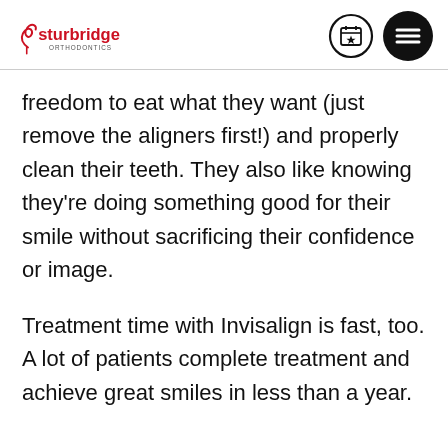Sturbridge Orthodontics
freedom to eat what they want (just remove the aligners first!) and properly clean their teeth. They also like knowing they're doing something good for their smile without sacrificing their confidence or image.
Treatment time with Invisalign is fast, too. A lot of patients complete treatment and achieve great smiles in less than a year.